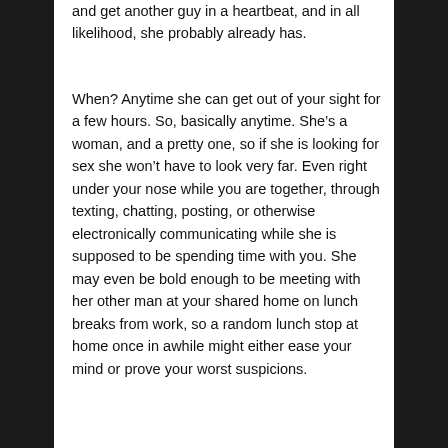and get another guy in a heartbeat, and in all likelihood, she probably already has.
When? Anytime she can get out of your sight for a few hours. So, basically anytime. She’s a woman, and a pretty one, so if she is looking for sex she won’t have to look very far. Even right under your nose while you are together, through texting, chatting, posting, or otherwise electronically communicating while she is supposed to be spending time with you. She may even be bold enough to be meeting with her other man at your shared home on lunch breaks from work, so a random lunch stop at home once in awhile might either ease your mind or prove your worst suspicions.